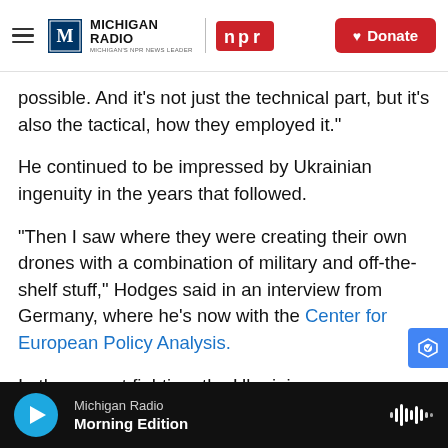Michigan Radio | NPR — Donate
possible. And it's not just the technical part, but it's also the tactical, how they employed it."
He continued to be impressed by Ukrainian ingenuity in the years that followed.
"Then I saw where they were creating their own drones with a combination of military and off-the-shelf stuff," Hodges said in an interview from Germany, where he's now with the Center for European Policy Analysis.
In the current fighting, the Ukrainians are receiving U.S. and Turkish drones that have proved hig
Michigan Radio — Morning Edition